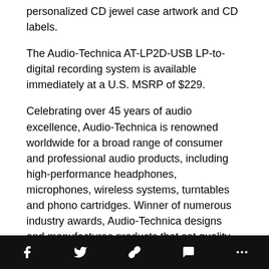personalized CD jewel case artwork and CD labels.
The Audio-Technica AT-LP2D-USB LP-to-digital recording system is available immediately at a U.S. MSRP of $229.
Celebrating over 45 years of audio excellence, Audio-Technica is renowned worldwide for a broad range of consumer and professional audio products, including high-performance headphones, microphones, wireless systems, turntables and phono cartridges. Winner of numerous industry awards, Audio-Technica designs and manufactures products that set quality, durability and price/performance standards for major concert tours, broadcast and recording studios, corporate and government facilities, theaters, house-of-worship venues, and consumer applications. Learn more at www.audio-
Social sharing bar with icons: Facebook, Twitter, Link, Comment, More